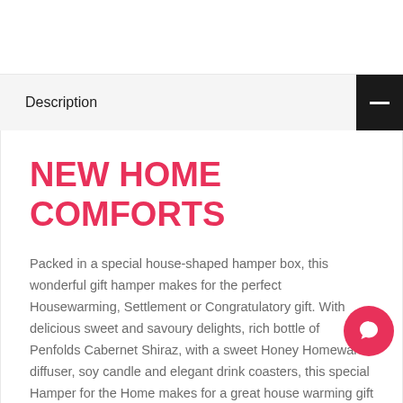Description
NEW HOME COMFORTS
Packed in a special house-shaped hamper box, this wonderful gift hamper makes for the perfect Housewarming, Settlement or Congratulatory gift. With delicious sweet and savoury delights, rich bottle of Penfolds Cabernet Shiraz, with a sweet Honey Homeware diffuser, soy candle and elegant drink coasters, this special Hamper for the Home makes for a great house warming gift